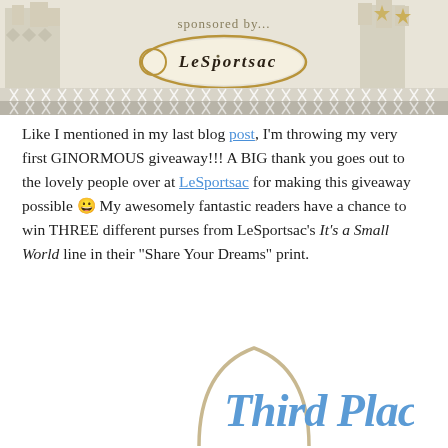[Figure (illustration): LeSportsac 'It's a Small World' banner with Disney-themed castle graphics in gold and gray tones, 'sponsored by...' text, and LeSportsac logo in gold oval, cross-pattern borders top and bottom]
Like I mentioned in my last blog post, I'm throwing my very first GINORMOUS giveaway!!! A BIG thank you goes out to the lovely people over at LeSportsac for making this giveaway possible 😀 My awesomely fantastic readers have a chance to win THREE different purses from LeSportsac's It's a Small World line in their "Share Your Dreams" print.
[Figure (illustration): Stylized cursive text reading 'Third Place' in blue handwriting style with a tan/beige arch shape behind it]